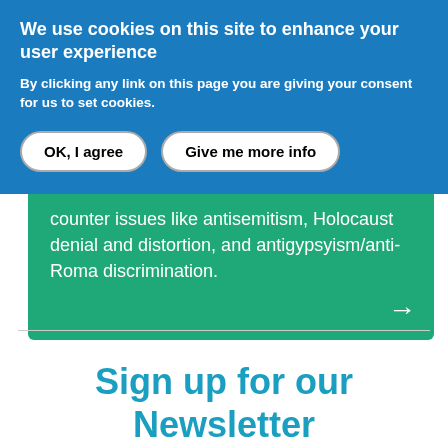We use cookies on this site to enhance your user experience
By clicking any link on this page you are giving your consent for us to set cookies.
OK, I agree
Give me more info
counter issues like antisemitism, Holocaust denial and distortion, and antigypsyism/anti-Roma discrimination.
Sign up for our Newsletter